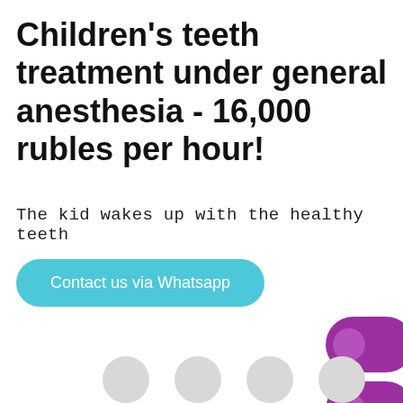Children's teeth treatment under general anesthesia - 16,000 rubles per hour!
The kid wakes up with the healthy teeth
Contact us via Whatsapp
[Figure (illustration): Decorative purple pill/capsule shapes stacked vertically on the right side, partially cropped, with light gray circles at the bottom]